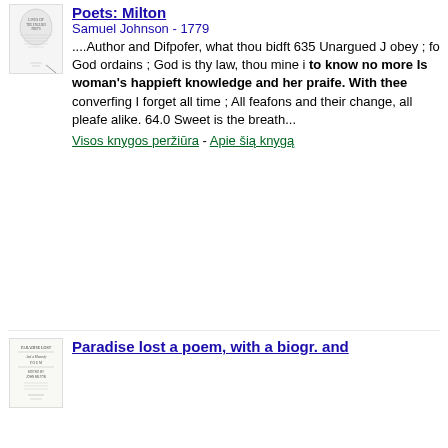[Figure (illustration): Book cover thumbnail for Lives of the English Poets: Milton]
Poets: Milton
Samuel Johnson - 1779
....Author and Difpofer, what thou bidft 635 Unargued J obey ; fo God ordains ; God is thy law, thou mine i to know no more Is woman's happieft knowledge and her praife. With thee converfing I forget all time ; All feafons and their change, all pleafe alike. 64.0 Sweet is the breath...
Visos knygos peržiūra - Apie šią knygą
[Figure (illustration): Book cover thumbnail for Paradise lost a poem, with a biogr. and]
Paradise lost a poem, with a biogr. and